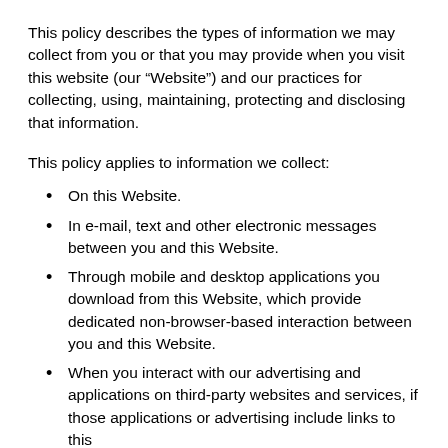This policy describes the types of information we may collect from you or that you may provide when you visit this website (our “Website”) and our practices for collecting, using, maintaining, protecting and disclosing that information.
This policy applies to information we collect:
On this Website.
In e-mail, text and other electronic messages between you and this Website.
Through mobile and desktop applications you download from this Website, which provide dedicated non-browser-based interaction between you and this Website.
When you interact with our advertising and applications on third-party websites and services, if those applications or advertising include links to this